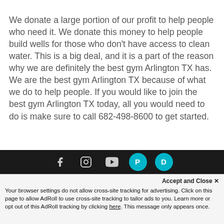We donate a large portion of our profit to help people who need it. We donate this money to help people build wells for those who don't have access to clean water. This is a big deal, and it is a part of the reason why we are definitely the best gym Arlington TX has. We are the best gym Arlington TX because of what we do to help people. If you would like to join the best gym Arlington TX today, all you would need to do is make sure to call 682-498-8600 to get started.
[Figure (other): Social media icon bar with Facebook, Instagram, YouTube, and two other branded icons on a dark background]
Accept and Close ✕
Your browser settings do not allow cross-site tracking for advertising. Click on this page to allow AdRoll to use cross-site tracking to tailor ads to you. Learn more or opt out of this AdRoll tracking by clicking here. This message only appears once.